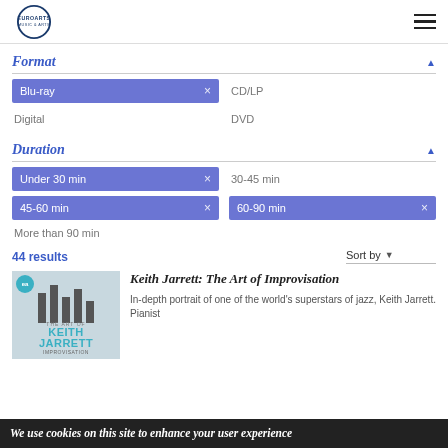EuroArts
Format
Blu-ray ×
CD/LP
Digital
DVD
Duration
Under 30 min ×
30-45 min
45-60 min ×
60-90 min ×
More than 90 min
44 results
Sort by
[Figure (illustration): Keith Jarrett documentary cover with piano bars motif, teal badge, title text 'KEITH JARRETT THE ART OF IMPROVISATION']
Keith Jarrett: The Art of Improvisation
In-depth portrait of one of the world's superstars of jazz, Keith Jarrett. Pianist
We use cookies on this site to enhance your user experience